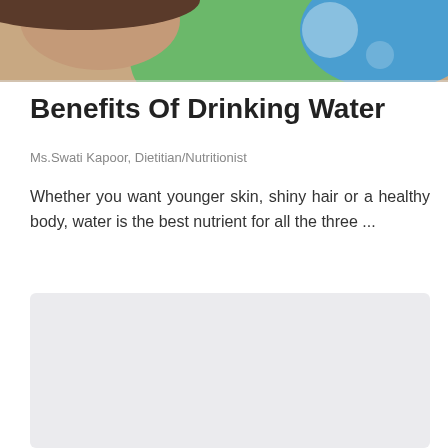[Figure (photo): Photo banner of a person drinking water from a bottle, cropped to show face and green/blue background]
Benefits Of Drinking Water
Ms.Swati Kapoor, Dietitian/Nutritionist
Whether you want younger skin, shiny hair or a healthy body, water is the best nutrient for all the three ...
♡ 642   share icon
[Figure (other): Gray placeholder box, likely an advertisement or loading content area]